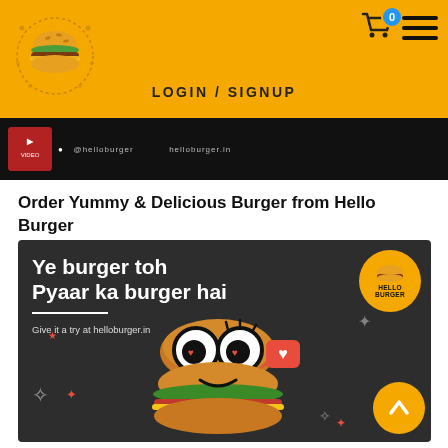[Figure (logo): Hello Burger logo - burger icon with decorative dots]
LOGIN / SIGNUP
[Figure (screenshot): Dark social media banner strip showing @helloburger handle]
Order Yummy & Delicious Burger from Hello Burger
[Figure (photo): Promotional image on dark background with cartoon burger character and text: Ye burger toh Pyaar ka burger hai. Give it a try at helloburger.in. Hello Burger badge visible top right.]